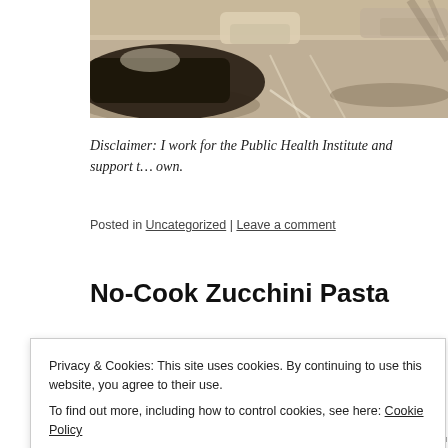[Figure (photo): Sepia-toned street scene showing parked cars in a parking lot with shadows, cropped at the top of the page]
Disclaimer: I work for the Public Health Institute and support t… own.
Posted in Uncategorized | Leave a comment
No-Cook Zucchini Pasta
Privacy & Cookies: This site uses cookies. By continuing to use this website, you agree to their use.
To find out more, including how to control cookies, see here: Cookie Policy
Close and accept